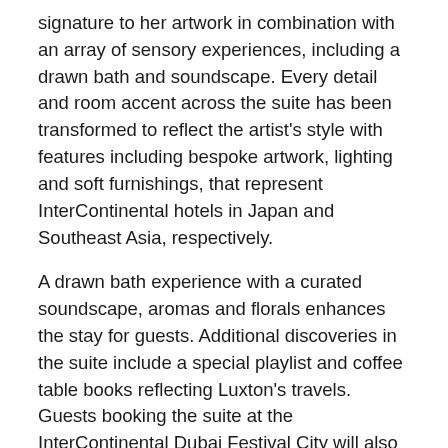signature to her artwork in combination with an array of sensory experiences, including a drawn bath and soundscape. Every detail and room accent across the suite has been transformed to reflect the artist's style with features including bespoke artwork, lighting and soft furnishings, that represent InterContinental hotels in Japan and Southeast Asia, respectively.
A drawn bath experience with a curated soundscape, aromas and florals enhances the stay for guests. Additional discoveries in the suite include a special playlist and coffee table books reflecting Luxton's travels. Guests booking the suite at the InterContinental Dubai Festival City will also be offered a massage for two in the hotel's luxury spa.
Claire Luxton said: "I'm thrilled to partner with InterContinental Hotels & Resorts again, interpreting the brand's story of worldliness. Global travel inspires my work, and I hope it shines through in every detail of the collaboration, from the foyer florals and the hotel team's custom scarves to the drawn bath experience and the artworks themselves. Each flower and animal within my work